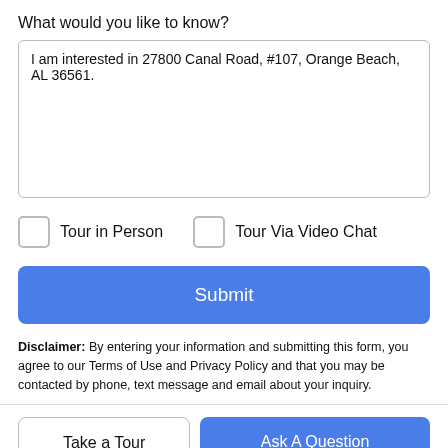What would you like to know?
I am interested in 27800 Canal Road, #107, Orange Beach, AL 36561.
Tour in Person
Tour Via Video Chat
Submit
Disclaimer: By entering your information and submitting this form, you agree to our Terms of Use and Privacy Policy and that you may be contacted by phone, text message and email about your inquiry.
Take a Tour
Ask A Question